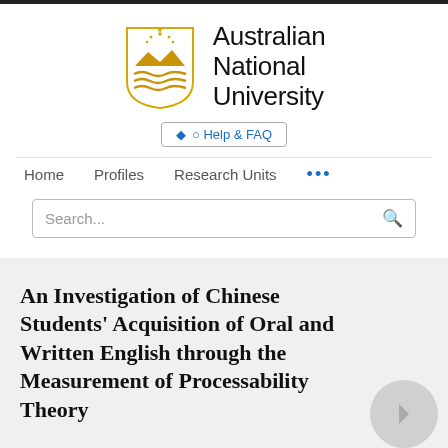[Figure (logo): Australian National University shield logo with gold mountains and waves, stars above]
Australian National University
Help & FAQ
Home   Profiles   Research Units   ...
Search...
An Investigation of Chinese Students' Acquisition of Oral and Written English through the Measurement of Processability Theory